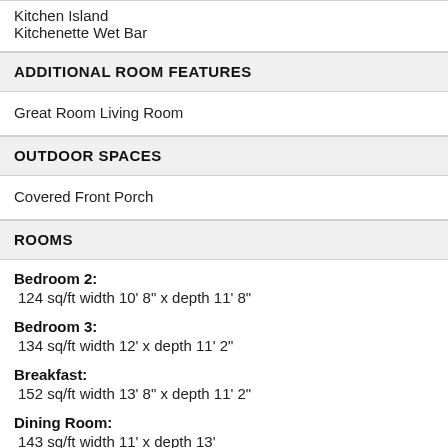Kitchen Island
Kitchenette Wet Bar
ADDITIONAL ROOM FEATURES
Great Room Living Room
OUTDOOR SPACES
Covered Front Porch
ROOMS
Bedroom 2: 124 sq/ft width 10' 8" x depth 11' 8"
Bedroom 3: 134 sq/ft width 12' x depth 11' 2"
Breakfast: 152 sq/ft width 13' 8" x depth 11' 2"
Dining Room: 143 sq/ft width 11' x depth 13'